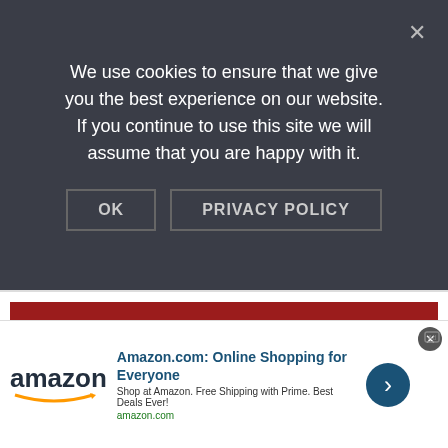We use cookies to ensure that we give you the best experience on our website. If you continue to use this site we will assume that you are happy with it.
OK   PRIVACY POLICY
HOUSE SIT ALL OVER THE WORLD
[Figure (photo): A dog resting on a couch or bed near a window with tropical plants visible in the background, with teal accent strips at the bottom corners]
Amazon.com: Online Shopping for Everyone
Shop at Amazon. Free Shipping with Prime. Best Deals Ever!
amazon.com